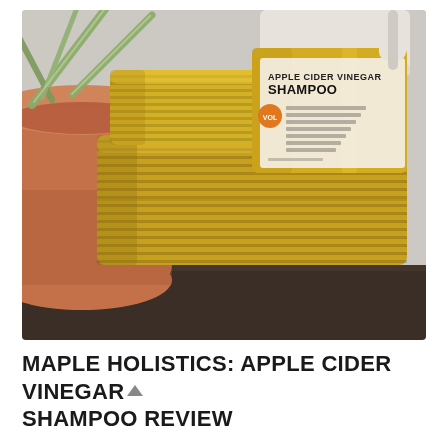[Figure (photo): Photo of a yellow Apple Cider Vinegar Shampoo bottle by Maple Holistics resting on a folded yellow towel, with a terracotta plant pot and green plant visible on the left, set on a dark wooden shelf against a light textured wall.]
MAPLE HOLISTICS: APPLE CIDER VINEGAR SHAMPOO REVIEW